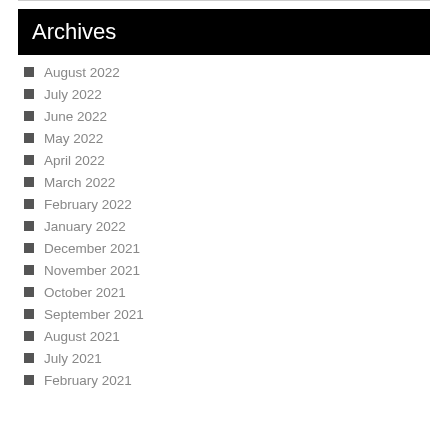Archives
August 2022
July 2022
June 2022
May 2022
April 2022
March 2022
February 2022
January 2022
December 2021
November 2021
October 2021
September 2021
August 2021
July 2021
February 2021